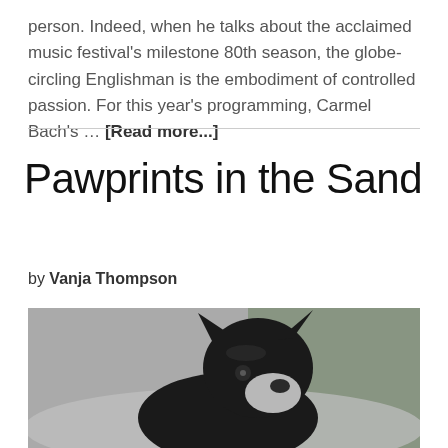person. Indeed, when he talks about the acclaimed music festival's milestone 80th season, the globe-circling Englishman is the embodiment of controlled passion. For this year's programming, Carmel Bach's … [Read more...]
Pawprints in the Sand
by Vanja Thompson
[Figure (photo): A black French bulldog looking upward, photographed in black and white with a blurred green background.]